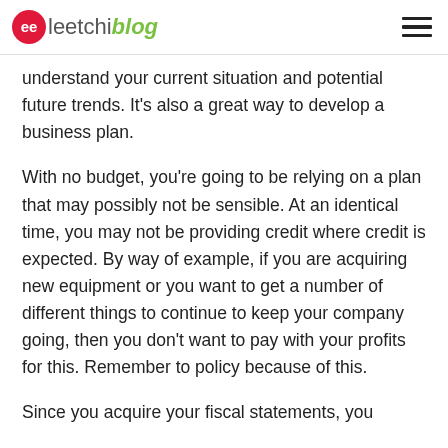leetchiblog
understand your current situation and potential future trends. It’s also a great way to develop a business plan.
With no budget, you’re going to be relying on a plan that may possibly not be sensible. At an identical time, you may not be providing credit where credit is expected. By way of example, if you are acquiring new equipment or you want to get a number of different things to continue to keep your company going, then you don’t want to pay with your profits for this. Remember to policy because of this.
Since you acquire your fiscal statements, you